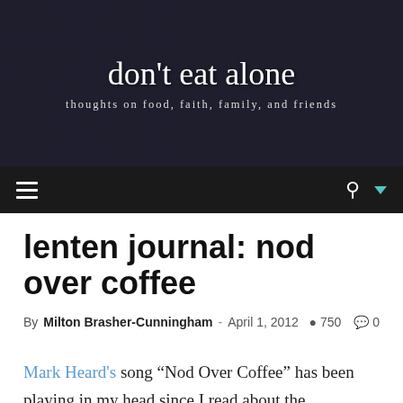don't eat alone
thoughts on food, faith, family, and friends
lenten journal: nod over coffee
By Milton Brasher-Cunningham - April 1, 2012   750   0
Mark Heard's song “Nod Over Coffee” has been playing in my head since I read about the consequences of the invention of the minute hand in Adam Frank’s book, About